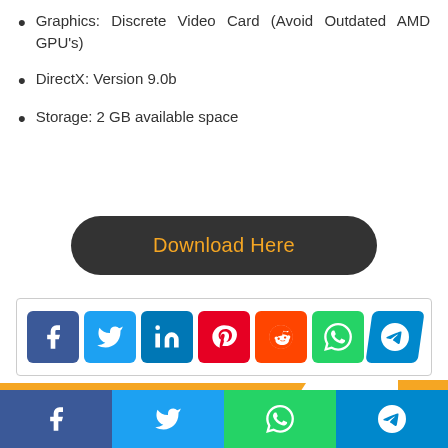Graphics: Discrete Video Card (Avoid Outdated AMD GPU's)
DirectX: Version 9.0b
Storage: 2 GB available space
[Figure (other): Download Here button (dark rounded rectangle with orange text)]
[Figure (other): Social share icons bar: Facebook, Twitter, LinkedIn, Pinterest, Reddit, WhatsApp, Telegram]
Related Articles
[Figure (other): Bottom social share bar with Facebook, Twitter, WhatsApp, Telegram icons]